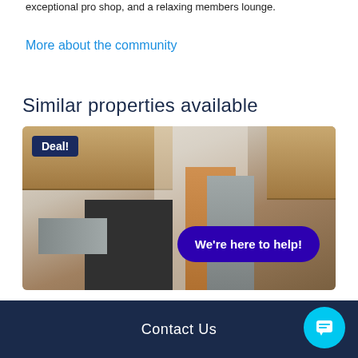exceptional pro shop, and a relaxing members lounge.
More about the community
Similar properties available
[Figure (photo): Interior photo of an apartment kitchen showing light wood upper cabinets, stainless steel appliances including a refrigerator and microwave, a gas stove, and a wooden door in the background. A 'Deal!' badge is overlaid in the top-left corner, and a 'We're here to help!' chat button appears in the lower right.]
Contact Us